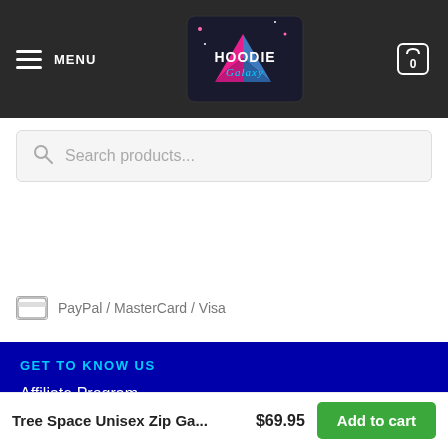MENU | Hoodie Galaxy | Cart (0)
Search products...
PayPal / MasterCard / Visa
GET TO KNOW US
Affiliate Program
About us
Blog
Instagram
Pinterest
Tree Space Unisex Zip Ga...  $69.95  Add to cart